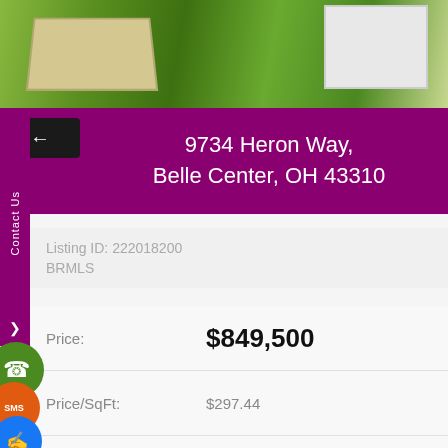[Figure (photo): Aerial view of property with green lawn and modern architectural elements]
9734 Heron Way,
Belle Center, OH 43310
Listing ID: 222018200
BRMLS
| Field | Value |
| --- | --- |
| Price: | $849,500 |
| Price/SqFt: | $297.44 |
| Status: | Active |
| Bedrooms: | 3 |
| Total Baths: | 2 |